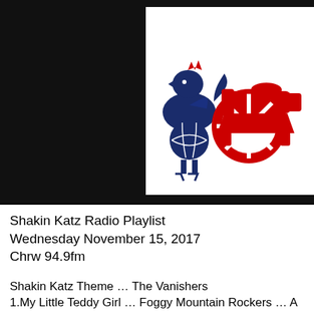[Figure (illustration): Two sports logos side by side on a white background: a dark blue Tottenham Hotspur cockerel/ball logo on the left, and a red Arsenal cannon logo on the right, set against a black background.]
Shakin Katz Radio Playlist
Wednesday November 15, 2017
Chrw 94.9fm
Shakin Katz Theme … The Vanishers
1.My Little Teddy Girl … Foggy Mountain Rockers … A Heart For The Teds Vol.2
2. Rockabilly Man … Sandy & The Wild Wombats … Devoted To Rock N Roll
3. Flat Broke … Rattled Rooster … Year Of The Rooster
4. Emma Peel Out … Said The Ripper … Instrumental & Spy Themes   request
5. Don't You Mess With Me … Relax Trio … Hold No Grudges
6. Soda Shop Bop … TroyDestory … Hard Ticked To Grotesville